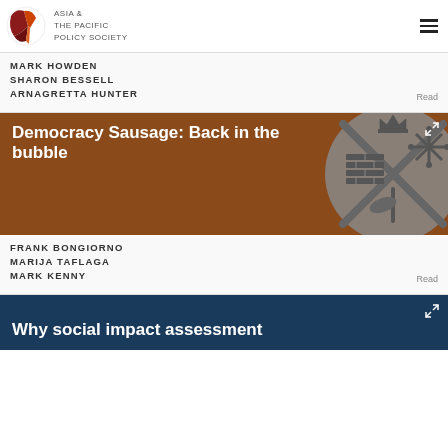ASIA & THE PACIFIC POLICY SOCIETY
MARK HOWDEN
SHARON BESSELL
ARNAGRETTA HUNTER
[Figure (illustration): Democracy Sausage: Back in the bubble - article card with brown/burnt orange background and a circular grey badge/crest featuring crossed items including a brick pattern, snowflake, crown, and sausage fork]
Democracy Sausage: Back in the bubble
FRANK BONGIORNO
MARIJA TAFLAGA
MARK KENNY
Why social impact assessment